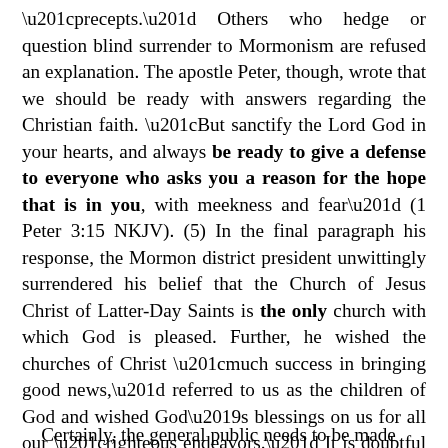“precepts.” Others who hedge or question blind surrender to Mormonism are refused an explanation. The apostle Peter, though, wrote that we should be ready with answers regarding the Christian faith. “But sanctify the Lord God in your hearts, and always be ready to give a defense to everyone who asks you a reason for the hope that is in you, with meekness and fear” (1 Peter 3:15 NKJV). (5) In the final paragraph his response, the Mormon district president unwittingly surrendered his belief that the Church of Jesus Christ of Latter-Day Saints is the only church with which God is pleased. Further, he wished the churches of Christ “much success in bringing good news,” referred to us as the children of God and wished God’s blessings on us for all our “righteous endeavors.” It is doubtful the Mormon church hierarchy concedes that the churches of Christ are satisfactory with God.
Certainly, the general public needs to be made